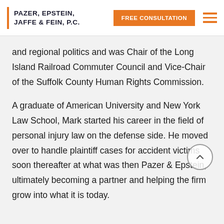PAZER, EPSTEIN, JAFFE & FEIN, P.C. | FREE CONSULTATION
and regional politics and was Chair of the Long Island Railroad Commuter Council and Vice-Chair of the Suffolk County Human Rights Commission.
A graduate of American University and New York Law School, Mark started his career in the field of personal injury law on the defense side. He moved over to handle plaintiff cases for accident victims soon thereafter at what was then Pazer & Epstein, ultimately becoming a partner and helping the firm grow into what it is today.